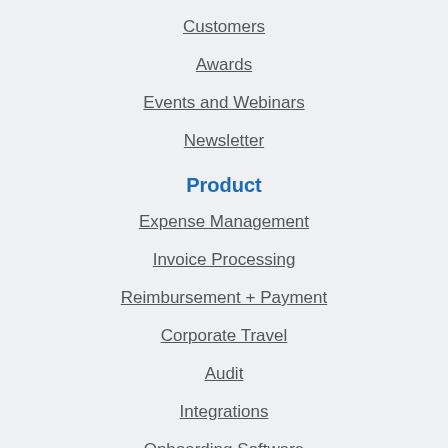Customers
Awards
Events and Webinars
Newsletter
Product
Expense Management
Invoice Processing
Reimbursement + Payment
Corporate Travel
Audit
Integrations
Onboarding Software
Resources